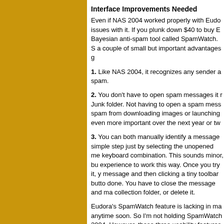[Figure (illustration): Gold/yellow-ochre colored vertical bar on the left side of the page]
Interface Improvements Needed
Even if NAS 2004 worked properly with Eudo issues with it. If you plunk down $40 to buy E Bayesian anti-spam tool called SpamWatch. S a couple of small but important advantages g
1. Like NAS 2004, it recognizes any sender a spam.
2. You don't have to open spam messages it Junk folder. Not having to open a spam mess spam from downloading images or launching even more important over the next year or tw
3. You can both manually identify a message simple step just by selecting the unopened m keyboard combination. This sounds minor, bu experience to work this way. Once you try it, message and then clicking a tiny toolbar butto done. You have to close the message and ma collection folder, or delete it.
Eudora's SpamWatch feature is lacking in ma anytime soon. So I'm not holding SpamWatch 2004. However, those three usability features Eudora or any other specific email program. N that I've talked about in past, Spamnix, does a reliability problems with its 1.2 beta version, b uses a mixture of SpamAssassin rules-based properly fill the void for Eudora users. But th